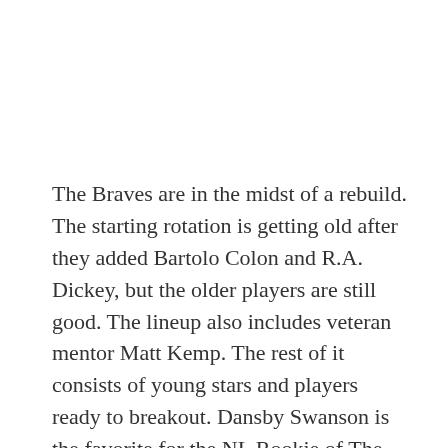The Braves are in the midst of a rebuild.  The starting rotation is getting old after they added Bartolo Colon and R.A. Dickey, but the older players are still good.  The lineup also includes veteran mentor Matt Kemp.  The rest of it consists of young stars and players ready to breakout.  Dansby Swanson is the favorite for the NL Rookie of The Year, Freddie Freeman continues to shine, Nick Markakis has done alright in Atlanta, and new acquisitions Brandon Phillips and Kurt Suzuki will help this